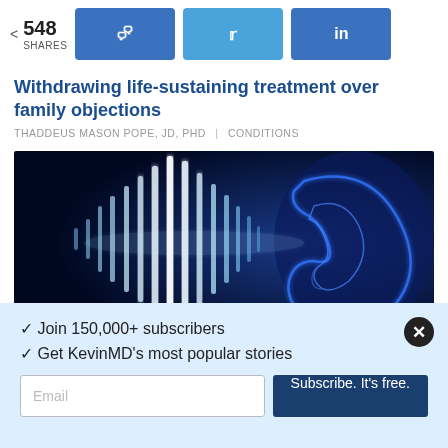548 SHARES
Withdrawing life-sustaining treatment over family objections
THADDEUS MASON POPE, JD, PHD | CONDITIONS
[Figure (illustration): Blue-toned illustration of a human ear with sound wave visualizer lines radiating toward it on a dark blue background]
Join 150,000+ subscribers
Get KevinMD's most popular stories
Email
Subscribe. It's free.